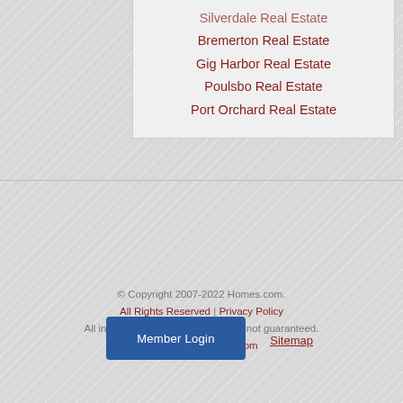Silverdale Real Estate
Bremerton Real Estate
Gig Harbor Real Estate
Poulsbo Real Estate
Port Orchard Real Estate
© Copyright 2007-2022 Homes.com.
All Rights Reserved | Privacy Policy
All information deemed reliable but not guaranteed.
Powered by Homes.com
Member Login
Sitemap